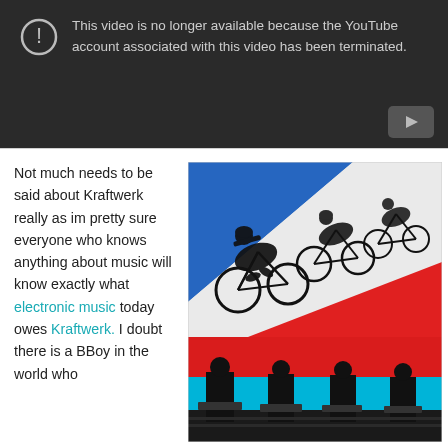[Figure (screenshot): YouTube embedded video error screen showing dark background with warning icon and message: 'This video is no longer available because the YouTube account associated with this video has been terminated.' A YouTube play button logo appears in the bottom right corner.]
Not much needs to be said about Kraftwerk really as im pretty sure everyone who knows anything about music will know exactly what electronic music today owes Kraftwerk. I doubt there is a BBoy in the world who
[Figure (photo): Kraftwerk concert photo. Top portion shows a stylized pop-art style illustration of cyclists in black on a red, white and blue diagonal background. Bottom portion shows four silhouetted figures standing at keyboards against a bright blue and red lit stage backdrop.]